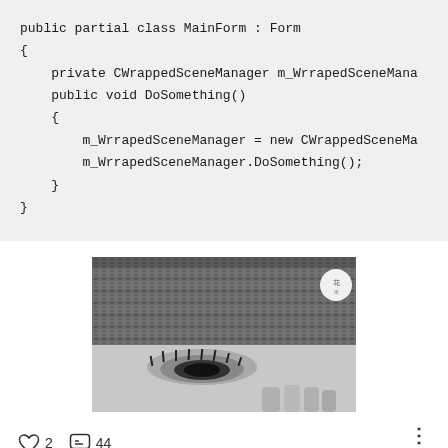public partial class MainForm : Form
{
    private CWrappedSceneManager m_WrrapedSceneMana
    public void DoSomething()
    {
        m_WrrapedSceneManager = new CWrappedSceneMa
        m_WrrapedSceneManager.DoSomething();
    }
}
[Figure (photo): Partial close-up black and white photo showing a knitted hat and what appears to be a person's eye/face, with a small circular icon visible at the top right of the image]
2  44